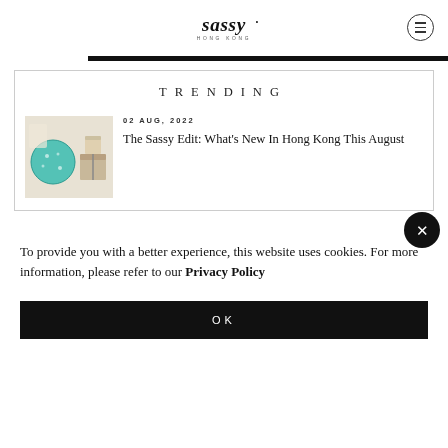Sassy Hong Kong
TRENDING
02 AUG, 2022
The Sassy Edit: What's New In Hong Kong This August
[Figure (photo): Thumbnail image of decorative items including teal globe ornament and gift boxes]
To provide you with a better experience, this website uses cookies. For more information, please refer to our Privacy Policy
OK